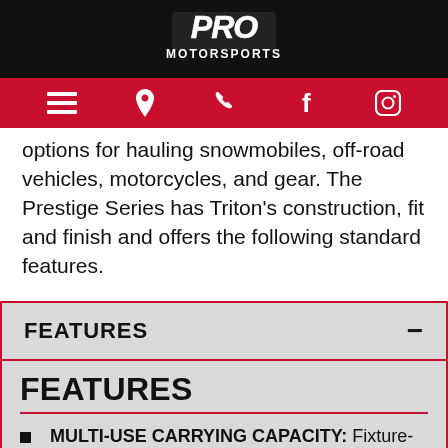[Figure (logo): Pro Motorsports logo in white on black background]
[Figure (infographic): Red navigation bar with hamburger menu, location pin, phone, Facebook, and Instagram icons in white]
options for hauling snowmobiles, off-road vehicles, motorcycles, and gear. The Prestige Series has Triton's construction, fit and finish and offers the following standard features.
FEATURES
FEATURES
MULTI-USE CARRYING CAPACITY: Fixture-built frame with custom extrusions has 19 in. on center floor crossmembers.
SMOOTH ALUMINUM SKIN: Bonded (screwless) 0.030 in. aluminum panel exterior.
DOUBLE-SEAL RAMP DOORS: Spring-assist